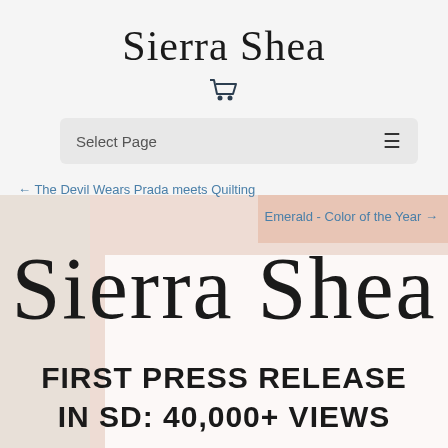Sierra Shea
[Figure (screenshot): Website screenshot of Sierra Shea blog with navigation bar showing 'Select Page' dropdown and hamburger menu icon, with bird silhouettes in background]
← The Devil Wears Prada meets Quilting
Emerald - Color of the Year →
Sierra Shea
FIRST PRESS RELEASE IN SD: 40,000+ VIEWS